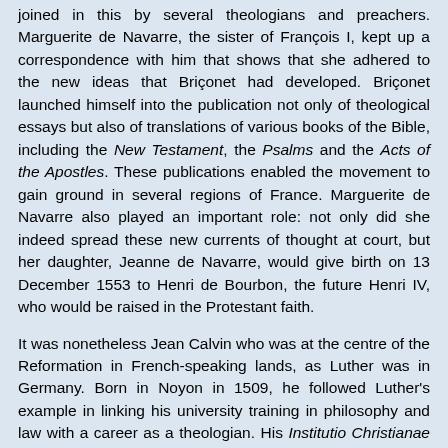joined in this by several theologians and preachers. Marguerite de Navarre, the sister of François I, kept up a correspondence with him that shows that she adhered to the new ideas that Briçonet had developed. Briçonet launched himself into the publication not only of theological essays but also of translations of various books of the Bible, including the New Testament, the Psalms and the Acts of the Apostles. These publications enabled the movement to gain ground in several regions of France. Marguerite de Navarre also played an important role: not only did she indeed spread these new currents of thought at court, but her daughter, Jeanne de Navarre, would give birth on 13 December 1553 to Henri de Bourbon, the future Henri IV, who would be raised in the Protestant faith.

It was nonetheless Jean Calvin who was at the centre of the Reformation in French-speaking lands, as Luther was in Germany. Born in Noyon in 1509, he followed Luther's example in linking his university training in philosophy and law with a career as a theologian. His Institutio Christianae Religionis (1536) sets out the basic concepts of his deliberations. After a short time in Geneva, Calvin then spent three years in Strasbourg as a member of Bucer's circle.